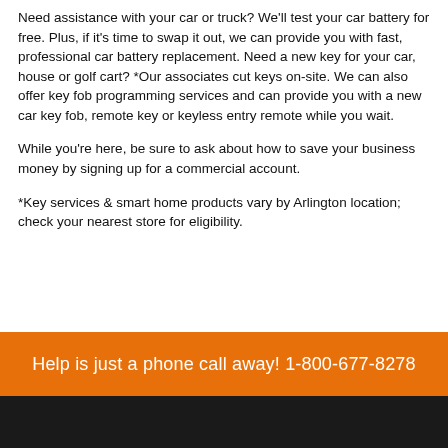Need assistance with your car or truck? We'll test your car battery for free. Plus, if it's time to swap it out, we can provide you with fast, professional car battery replacement. Need a new key for your car, house or golf cart? *Our associates cut keys on-site. We can also offer key fob programming services and can provide you with a new car key fob, remote key or keyless entry remote while you wait.
While you're here, be sure to ask about how to save your business money by signing up for a commercial account.
*Key services & smart home products vary by Arlington location; check your nearest store for eligibility.
Help is just a phone call away! 1-800-677-8278